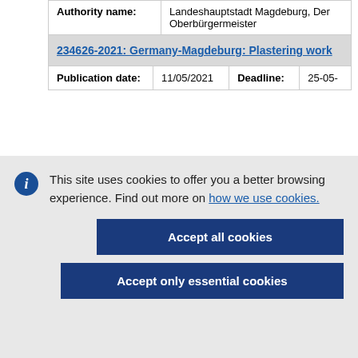| Authority name: | Landeshauptstadt Magdeburg, Der Oberbürgermeister |
| --- | --- |
234626-2021: Germany-Magdeburg: Plastering work
| Publication date: | 11/05/2021 | Deadline: | 25-05- |
| --- | --- | --- | --- |
This site uses cookies to offer you a better browsing experience. Find out more on how we use cookies.
Accept all cookies
Accept only essential cookies